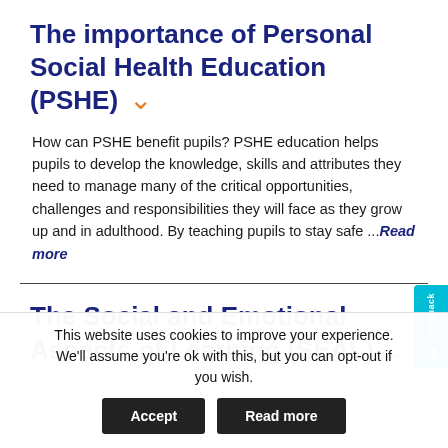The importance of Personal Social Health Education (PSHE)
How can PSHE benefit pupils? PSHE education helps pupils to develop the knowledge, skills and attributes they need to manage many of the critical opportunities, challenges and responsibilities they will face as they grow up and in adulthood. By teaching pupils to stay safe ... Read more
The Social and Emotional Aspects of Learning (SEAL)
This website uses cookies to improve your experience. We'll assume you're ok with this, but you can opt-out if you wish. Accept Read more